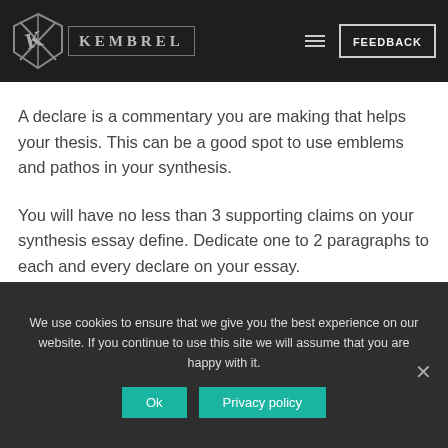KEMBREL | FEEDBACK
A declare is a commentary you are making that helps your thesis. This can be a good spot to use emblems and pathos in your synthesis.
You will have no less than 3 supporting claims on your synthesis essay define. Dedicate one to 2 paragraphs to each and every declare on your essay.
We use cookies to ensure that we give you the best experience on our website. If you continue to use this site we will assume that you are happy with it.